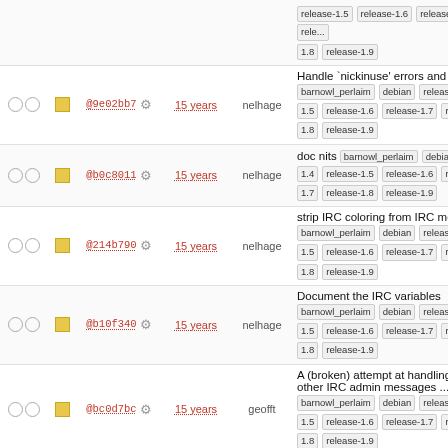|  |  | hash | age | author | message |
| --- | --- | --- | --- | --- | --- |
| ○○ | □ | @9e02bb7 | 15 years | nelhage | Handle `nickinuse` errors and ... barnowl_perlaim debian release-1.5 release-1.6 release-1.7 release-1.8 release-1.9 |
| ○○ | □ | @b0c8011 | 15 years | nelhage | doc nits barnowl_perlaim debian 1.4 release-1.5 release-1.6 release-1.7 release-1.8 release-1.9 |
| ○○ | □ | @214b790 | 15 years | nelhage | strip IRC coloring from IRC me... barnowl_perlaim debian release-1.5 release-1.6 release-1.7 release-1.8 release-1.9 |
| ○○ | □ | @b10f340 | 15 years | nelhage | Document the IRC variables barnowl_perlaim debian release-1.5 release-1.6 release-1.7 release-1.8 release-1.9 |
| ○○ | □ | @bc0d7bc | 15 years | geofft | A (broken) attempt at handling other IRC admin messages ... barnowl_perlaim debian release-1.5 release-1.6 release-1.7 release-1.8 release-1.9 |
| ○○ | □ | @2fb58e4 | 15 years | nelhage | Show the channel in LOG{IN,C... messages barnowl_perlaim debian 1.4 release-1.5 release-1.6 release-1.7 release-1.8 release-1.9 |
| ○○ | □ | @47b6a5f | 15 years | nelhage | Show PART and JOIN messag... barnowl_perlaim debian release-1.5 release-1.6 release-1.7 release-1.8 release-1.9 |
| ○○ | □ | @6958d2d | 15 years | nelhage | Implement /part and /names. W... parse the /names response ye... barnowl_perlaim debian |